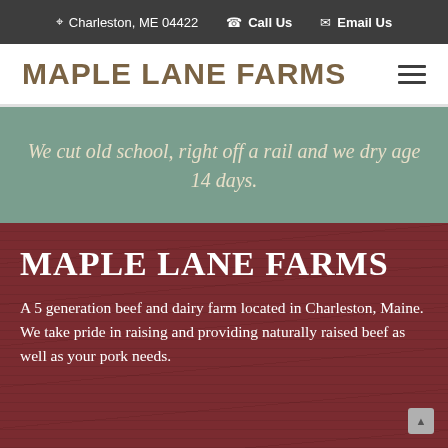Charleston, ME 04422   Call Us   Email Us
MAPLE LANE FARMS
We cut old school, right off a rail and we dry age 14 days.
MAPLE LANE FARMS
A 5 generation beef and dairy farm located in Charleston, Maine. We take pride in raising and providing naturally raised beef as well as your pork needs.